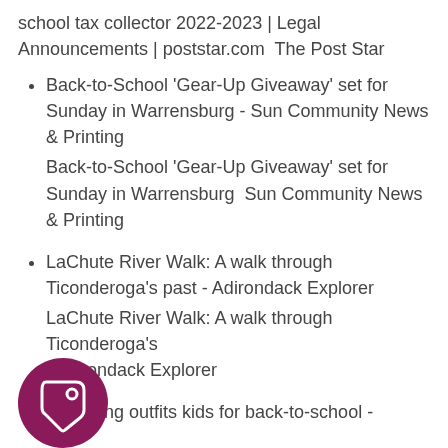school tax collector 2022-2023 | Legal Announcements | poststar.com  The Post Star
Back-to-School 'Gear-Up Giveaway' set for Sunday in Warrensburg - Sun Community News & Printing
Back-to-School 'Gear-Up Giveaway' set for Sunday in Warrensburg  Sun Community News & Printing
LaChute River Walk: A walk through Ticonderoga's past - Adirondack Explorer
LaChute River Walk: A walk through Ticonderoga's  Adirondack Explorer
Barbering outfits kids for back-to-school -
[Figure (illustration): A dark pink/magenta circular icon button containing a price tag (label/tag) icon in white outline.]